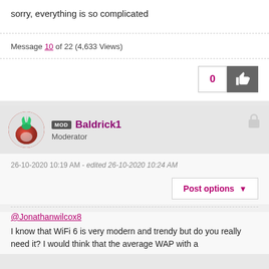sorry, everything is so complicated
Message 10 of 22 (4,633 Views)
[Figure (other): Like button with count 0 and thumbs up icon]
[Figure (other): User avatar - round image with a turnip/radish illustration]
MOD Baldrick1 Moderator
26-10-2020 10:19 AM - edited 26-10-2020 10:24 AM
Post options
@Jonathanwilcox8
I know that WiFi 6 is very modern and trendy but do you really need it? I would think that the average WAP with a